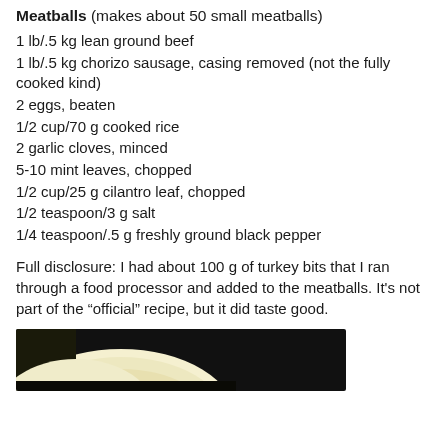Meatballs (makes about 50 small meatballs)
1 lb/.5 kg lean ground beef
1 lb/.5 kg chorizo sausage, casing removed (not the fully cooked kind)
2 eggs, beaten
1/2 cup/70 g cooked rice
2 garlic cloves, minced
5-10 mint leaves, chopped
1/2 cup/25 g cilantro leaf, chopped
1/2 teaspoon/3 g salt
1/4 teaspoon/.5 g freshly ground black pepper
Full disclosure: I had about 100 g of turkey bits that I ran through a food processor and added to the meatballs. It’s not part of the “official” recipe, but it did taste good.
[Figure (photo): Photo of a bowl or plate with food, partial view showing light-colored bowl against dark background]